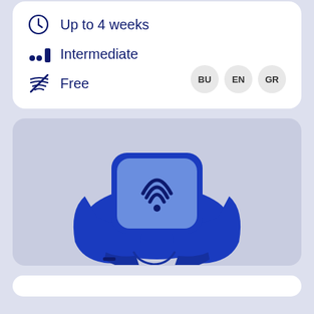Up to 4 weeks
Intermediate
Free
BU EN GR
[Figure (illustration): Blue smartwatch/wristband with NFC/contactless payment symbol on the face, shown on a light purple-grey background.]